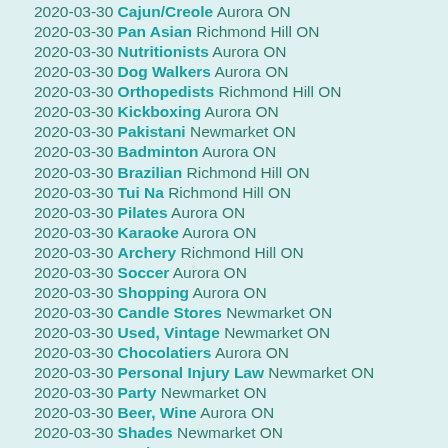2020-03-30 Cajun/Creole Aurora ON
2020-03-30 Pan Asian Richmond Hill ON
2020-03-30 Nutritionists Aurora ON
2020-03-30 Dog Walkers Aurora ON
2020-03-30 Orthopedists Richmond Hill ON
2020-03-30 Kickboxing Aurora ON
2020-03-30 Pakistani Newmarket ON
2020-03-30 Badminton Aurora ON
2020-03-30 Brazilian Richmond Hill ON
2020-03-30 Tui Na Richmond Hill ON
2020-03-30 Pilates Aurora ON
2020-03-30 Karaoke Aurora ON
2020-03-30 Archery Richmond Hill ON
2020-03-30 Soccer Aurora ON
2020-03-30 Shopping Aurora ON
2020-03-30 Candle Stores Newmarket ON
2020-03-30 Used, Vintage Newmarket ON
2020-03-30 Chocolatiers Aurora ON
2020-03-30 Personal Injury Law Newmarket ON
2020-03-30 Party Newmarket ON
2020-03-30 Beer, Wine Aurora ON
2020-03-30 Shades Newmarket ON
2020-03-30 Decks Aurora ON